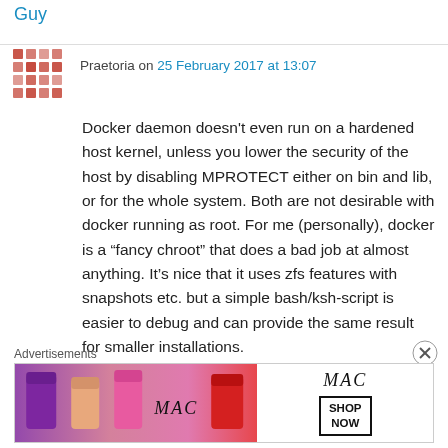Guy
Praetoria on 25 February 2017 at 13:07
Docker daemon doesn't even run on a hardened host kernel, unless you lower the security of the host by disabling MPROTECT either on bin and lib, or for the whole system. Both are not desirable with docker running as root. For me (personally), docker is a “fancy chroot” that does a bad job at almost anything. It’s nice that it uses zfs features with snapshots etc. but a simple bash/ksh-script is easier to debug and can provide the same result for smaller installations.
Advertisements
[Figure (photo): MAC cosmetics advertisement banner showing lipsticks and MAC logo with SHOP NOW button]